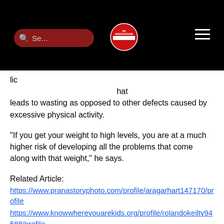[Figure (screenshot): Website navigation header for UK Underground Rap with search box, logo, and hamburger menu on black background]
UK UNDERGROUND RAP
lic ...hat leads to wasting as opposed to other defects caused by excessive physical activity.
"If you get your weight to high levels, you are at a much higher risk of developing all the problems that come along with that weight," he says.
Related Article:
https://www.pranastoryphoto.com/profile/aragarhart147170/profile
https://www.knowwhereyouarekids.org/profile/rolandokeilty94588/profile
https://www.firstwordisma.com/profile/nakitadales111083/profile
https://www.sociosistemas.com/profile/harryschrab6599/profile